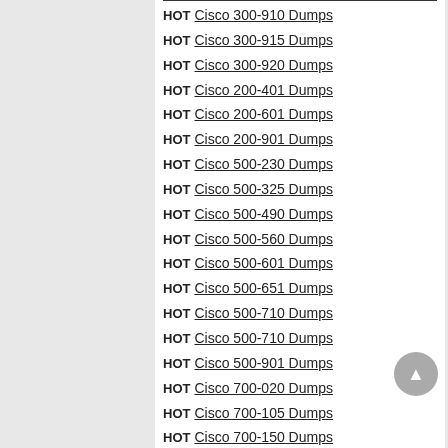HOT Cisco 300-910 Dumps
HOT Cisco 300-915 Dumps
HOT Cisco 300-920 Dumps
HOT Cisco 200-401 Dumps
HOT Cisco 200-601 Dumps
HOT Cisco 200-901 Dumps
HOT Cisco 500-230 Dumps
HOT Cisco 500-325 Dumps
HOT Cisco 500-490 Dumps
HOT Cisco 500-560 Dumps
HOT Cisco 500-601 Dumps
HOT Cisco 500-651 Dumps
HOT Cisco 500-710 Dumps
HOT Cisco 500-710 Dumps
HOT Cisco 500-901 Dumps
HOT Cisco 700-020 Dumps
HOT Cisco 700-105 Dumps
HOT Cisco 700-150 Dumps